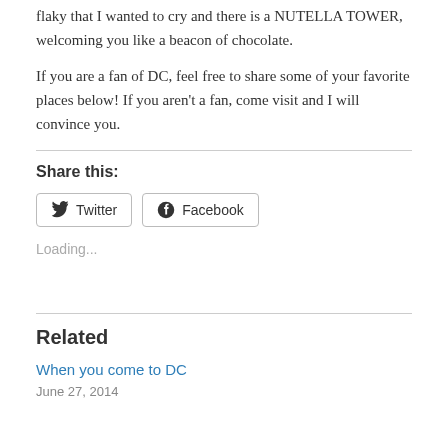flaky that I wanted to cry and there is a NUTELLA TOWER, welcoming you like a beacon of chocolate.
If you are a fan of DC, feel free to share some of your favorite places below! If you aren't a fan, come visit and I will convince you.
Share this:
Twitter  Facebook
Loading...
Related
When you come to DC
June 27, 2014